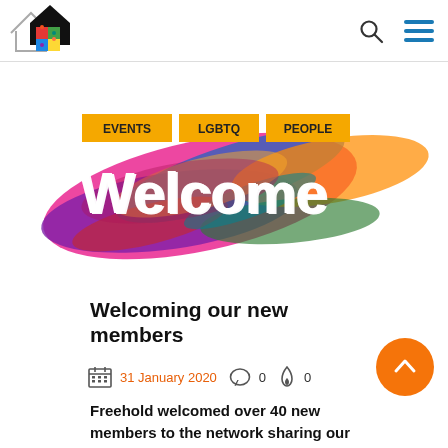Freehold network logo, search icon, menu icon
[Figure (logo): Freehold network logo: house outline with colorful puzzle pieces inside, black filled house overlapping, text Freehold]
[Figure (infographic): Colorful paint brush strokes with the word 'Welcome' in large white bold text, tags EVENTS, LGBTQ, PEOPLE above in yellow pills]
Welcoming our new members
31 January 2020   0   0
Freehold welcomed over 40 new members to the network sharing our future plans and hearing more about